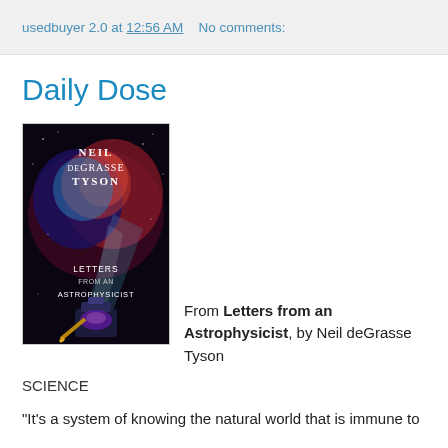usedbuyer 2.0 at 12:56 AM   No comments:
Daily Dose
[Figure (photo): Book cover of 'Letters from an Astrophysicist' by Neil deGrasse Tyson, showing a nebula background with an ink bottle]
From Letters from an Astrophysicist, by Neil deGrasse Tyson
SCIENCE
"It's a system of knowing the natural world that is immune to